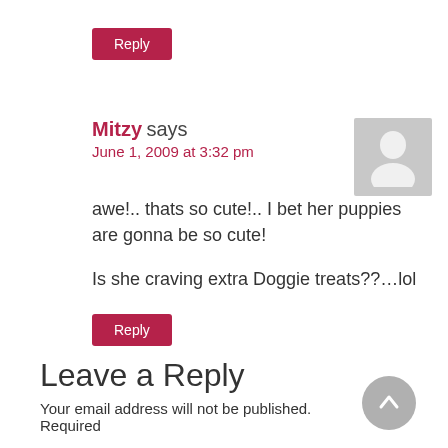Reply (button at top)
Mitzy says
June 1, 2009 at 3:32 pm
awe!.. thats so cute!.. I bet her puppies are gonna be so cute!

Is she craving extra Doggie treats??...lol
Reply (button at bottom)
Leave a Reply
Your email address will not be published. Required